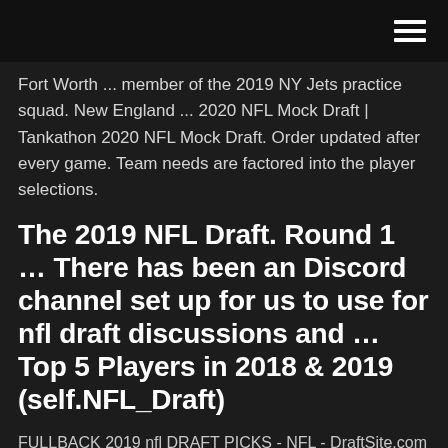(hamburger menu icon)
Fort Worth ... member of the 2019 NY Jets practice squad. New England ... 2020 NFL Mock Draft | Tankathon 2020 NFL Mock Draft. Order updated after every game. Team needs are factored into the player selections.
The 2019 NFL Draft. Round 1 … There has been an Discord channel set up for us to use for nfl draft discussions and … Top 5 Players in 2018 & 2019 (self.NFL_Draft)
FULLBACK 2019 nfl DRAFT PICKS - NFL - DraftSite.com NFL draft picks for the fullback position. … FULLBACK 2019 nfl